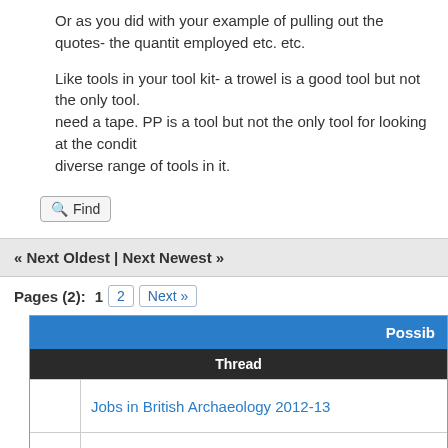Or as you did with your example of pulling out the quotes- the quantity employed etc. etc.
Like tools in your tool kit- a trowel is a good tool but not the only tool. need a tape. PP is a tool but not the only tool for looking at the condit diverse range of tools in it.
Find
« Next Oldest | Next Newest »
Pages (2):  1  2  Next »
| Possib | Thread |
| --- | --- |
|  | Jobs in British Archaeology 2012-13 |
|  | Help With Profilling the Profession |
|  |  |